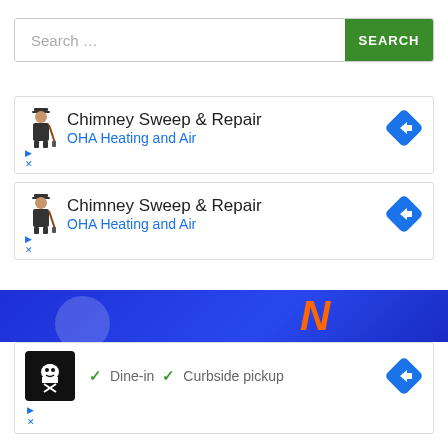[Figure (screenshot): Search bar with placeholder text 'Search ...' and a green SEARCH button]
[Figure (screenshot): Ad card: Chimney Sweep & Repair - OHA Heating and Air, with navigation arrow icon]
[Figure (screenshot): Ad card: Chimney Sweep & Repair - OHA Heating and Air, with navigation arrow icon]
[Figure (screenshot): Blue banner with orange N logo (Namecheap or similar)]
[Figure (screenshot): Ad card showing chef icon, Dine-in and Curbside pickup checkmarks, with navigation arrow]